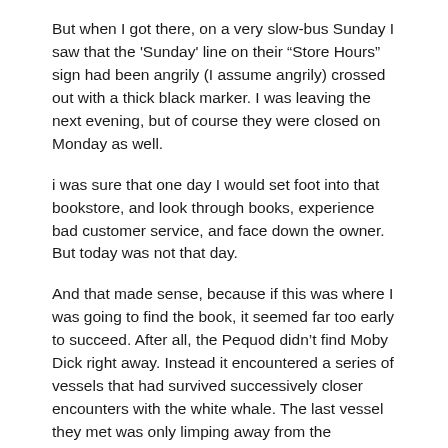But when I got there, on a very slow-bus Sunday I saw that the 'Sunday' line on their "Store Hours" sign had been angrily (I assume angrily) crossed out with a thick black marker. I was leaving the next evening, but of course they were closed on Monday as well.
i was sure that one day I would set foot into that bookstore, and look through books, experience bad customer service, and face down the owner. But today was not that day.
And that made sense, because if this was where I was going to find the book, it seemed far too early to succeed. After all, the Pequod didn't find Moby Dick right away. Instead it encountered a series of vessels that had survived successively closer encounters with the white whale. The last vessel they met was only limping away from the encounter, with a final warning. And only then did Ahab come face to face with his nemesis, where he finally met with the beast's full wrath (at least, that's how I remember it).